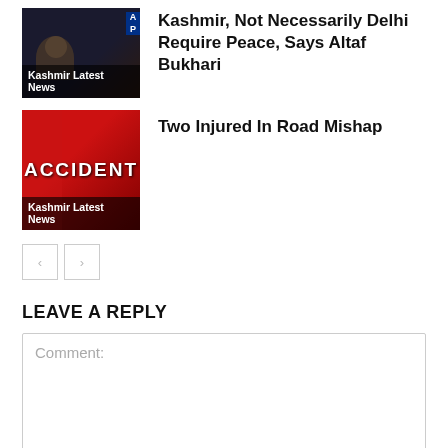[Figure (photo): Thumbnail photo of a person with dark background and AP logo overlay, labeled Kashmir Latest News]
Kashmir, Not Necessarily Delhi Require Peace, Says Altaf Bukhari
[Figure (photo): Thumbnail with red background and ACCIDENT text, labeled Kashmir Latest News]
Two Injured In Road Mishap
< >
LEAVE A REPLY
Comment: